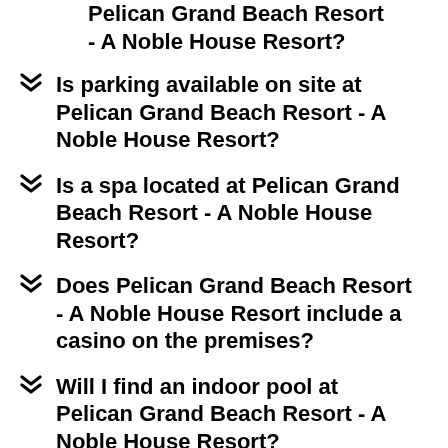Pelican Grand Beach Resort - A Noble House Resort?
Is parking available on site at Pelican Grand Beach Resort - A Noble House Resort?
Is a spa located at Pelican Grand Beach Resort - A Noble House Resort?
Does Pelican Grand Beach Resort - A Noble House Resort include a casino on the premises?
Will I find an indoor pool at Pelican Grand Beach Resort - A Noble House Resort?
What amenities will couples enjoy at Pelican Grand Beach Resort - A Noble House Resort?
Does Pelican Grand Beach Resort - A